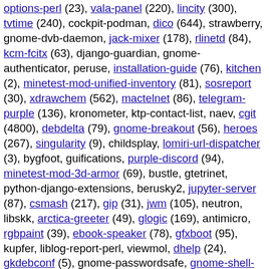options-perl (23), vala-panel (220), lincity (300), tvtime (240), cockpit-podman, dico (644), strawberry, gnome-dvb-daemon, jack-mixer (178), rlinetd (84), kcm-fcitx (63), django-guardian, gnome-authenticator, peruse, installation-guide (76), kitchen (2), minetest-mod-unified-inventory (81), sosreport (30), xdrawchem (562), mactelnet (86), telegram-purple (136), kronometer, ktp-contact-list, naev, cgit (4800), debdelta (79), gnome-breakout (56), heroes (267), singularity (9), childsplay, lomiri-url-dispatcher (3), bygfoot, guifications, purple-discord (94), minetest-mod-3d-armor (69), bustle, gtetrinet, python-django-extensions, berusky2, jupyter-server (87), csmash (217), gip (31), jwm (105), neutron, libskk, arctica-greeter (49), glogic (169), antimicro, rgbpaint (39), ebook-speaker (78), gfxboot (95), kupfer, liblog-report-perl, viewmol, dhelp (24), gkdebconf (5), gnome-passwordsafe, gnome-shell-extension-arc-menu (305), liblocale-msgfmt-perl, ocaml-gettext (33), tgif (8), hime, xlog (340), freedombox (1475), fswatch (130), php-horde-exception (2), php-horde-translation, xblast-tnt (381), gourmet (880), python-